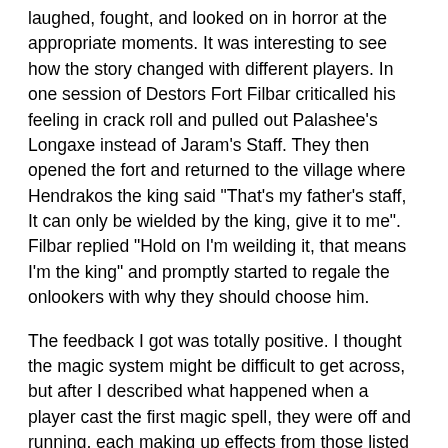laughed, fought, and looked on in horror at the appropriate moments. It was interesting to see how the story changed with different players. In one session of Destors Fort Filbar criticalled his feeling in crack roll and pulled out Palashee's Longaxe instead of Jaram's Staff. They then opened the fort and returned to the village where Hendrakos the king said "That's my father's staff, It can only be wielded by the king, give it to me". Filbar replied "Hold on I'm weilding it, that means I'm the king" and promptly started to regale the onlookers with why they should choose him.
The feedback I got was totally positive. I thought the magic system might be difficult to get across, but after I described what happened when a player cast the first magic spell, they were off and running, each making up effects from those listed for their character. I've got to say it was a buzz to see the eyes of players unfamiliar with the system, suddenly light up when they realised how simple and how powerful the system is.